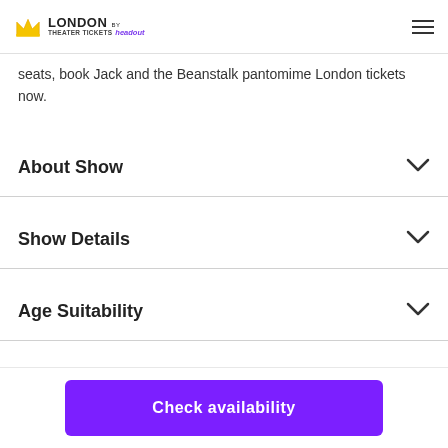LONDON THEATER TICKETS by headout
seats, book Jack and the Beanstalk pantomime London tickets now.
About Show
Show Details
Age Suitability
Check availability